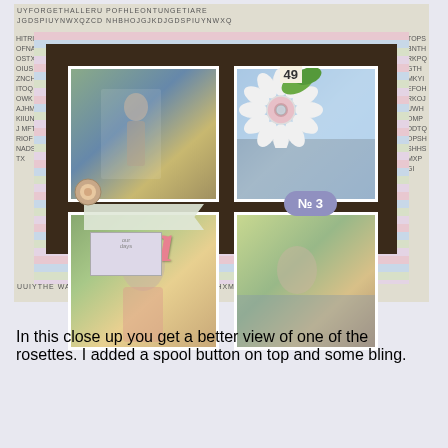[Figure (photo): Scrapbook page layout with word search border, striped background, dark brown photo mat, four beach/outdoor photos, decorative rosette flower with leaf, 'sea' text in pink italic, small label box, No.3 purple badge, and number 49 tag]
In this close up you get a better view of one of the rosettes. I added a spool button on top and some bling.
[Figure (photo): Close-up photo of scrapbook corner showing word search border strips, striped pastel background, green leaf decoration, and number 49 tag]